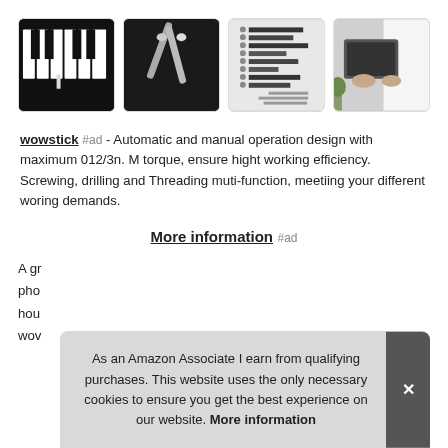[Figure (photo): Four product images in a horizontal gallery: piano keys with stylus, pen/stylus on dark background, product info chart, hands using device]
wowstick #ad - Automatic and manual operation design with maximum 012/3n. M torque, ensure hight working efficiency. Screwing, drilling and Threading muti-function, meetiing your different woring demands.
More information #ad
A gr... pho... hou... wov...
As an Amazon Associate I earn from qualifying purchases. This website uses the only necessary cookies to ensure you get the best experience on our website. More information